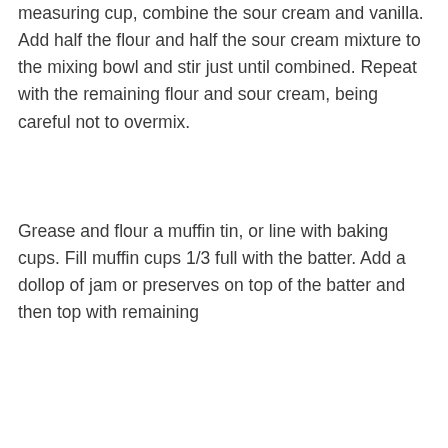measuring cup, combine the sour cream and vanilla. Add half the flour and half the sour cream mixture to the mixing bowl and stir just until combined. Repeat with the remaining flour and sour cream, being careful not to overmix.
Grease and flour a muffin tin, or line with baking cups. Fill muffin cups 1/3 full with the batter. Add a dollop of jam or preserves on top of the batter and then top with remaining